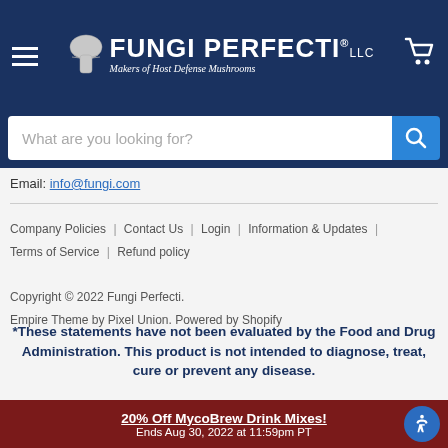[Figure (logo): Fungi Perfecti LLC logo with mushroom icon and tagline 'Makers of Host Defense Mushrooms' on dark navy header bar with hamburger menu and cart icon]
What are you looking for?
Email: info@fungi.com
Company Policies | Contact Us | Login | Information & Updates | Terms of Service | Refund policy
Copyright © 2022 Fungi Perfecti.
Empire Theme by Pixel Union. Powered by Shopify
*These statements have not been evaluated by the Food and Drug Administration. This product is not intended to diagnose, treat, cure or prevent any disease.
20% Off MycoBrew Drink Mixes!
Ends Aug 30, 2022 at 11:59pm PT